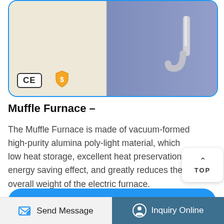[Figure (photo): Product image of Muffle Furnace with CE and gold supplier certification badges, showing a white/beige front panel and blue/purple side panel with a metallic hook element]
Muffle Furnace –
The Muffle Furnace is made of vacuum-formed high-purity alumina poly-light material, which low heat storage, excellent heat preservation energy saving effect, and greatly reduces the overall weight of the electric furnace.
Get Details →
Send Message
Inquiry Online